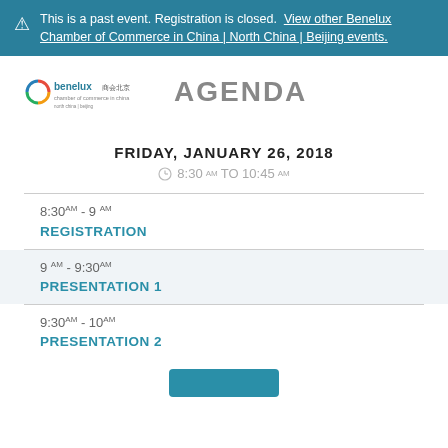This is a past event. Registration is closed. View other Benelux Chamber of Commerce in China | North China | Beijing events.
[Figure (logo): Benelux Chamber of Commerce in China logo with colorful ring icon and Chinese text]
AGENDA
FRIDAY, JANUARY 26, 2018
8:30AM TO 10:45AM
8:30AM - 9AM REGISTRATION
9AM - 9:30AM PRESENTATION 1
9:30AM - 10AM PRESENTATION 2